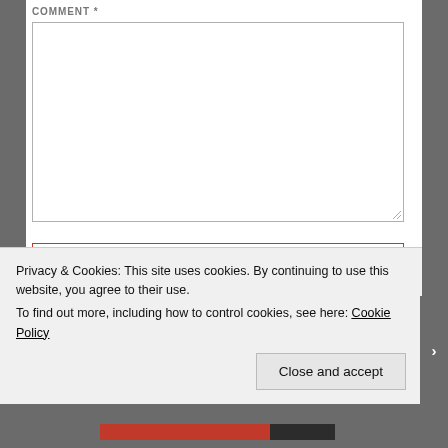COMMENT *
[Figure (screenshot): Comment text area input box, empty, with resize handle at bottom right]
[Figure (screenshot): Name text input field, outlined in red]
NAME *
[Figure (screenshot): Email text input field, partially visible]
Privacy & Cookies: This site uses cookies. By continuing to use this website, you agree to their use.
To find out more, including how to control cookies, see here: Cookie Policy
Close and accept